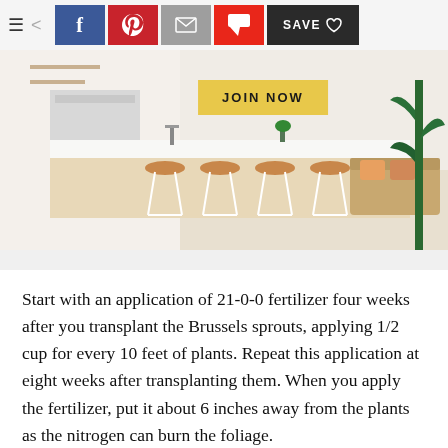≡  <  f  p  ✉  F  SAVE ♡
[Figure (photo): Interior photo of a modern kitchen and living room with white countertops, wooden bar stools with white metal frames, and indoor plants. A yellow 'JOIN NOW' button overlaid on the image.]
Start with an application of 21-0-0 fertilizer four weeks after you transplant the Brussels sprouts, applying 1/2 cup for every 10 feet of plants. Repeat this application at eight weeks after transplanting them. When you apply the fertilizer, put it about 6 inches away from the plants as the nitrogen can burn the foliage.